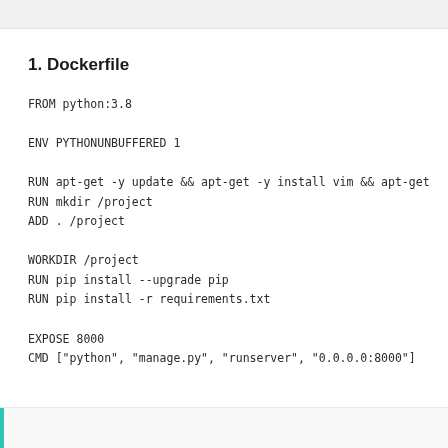1. Dockerfile
FROM python:3.8

ENV PYTHONUNBUFFERED 1

RUN apt-get -y update && apt-get -y install vim && apt-get
RUN mkdir /project
ADD . /project

WORKDIR /project
RUN pip install --upgrade pip
RUN pip install -r requirements.txt

EXPOSE 8000
CMD ["python", "manage.py", "runserver", "0.0.0.0:8000"]